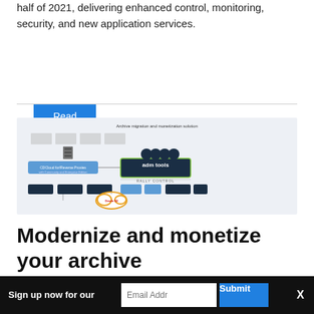half of 2021, delivering enhanced control, monitoring, security, and new application services.
Read More
[Figure (schematic): Archive migration and monetization solution diagram showing system architecture with components including CDN/Reverse Proxy, adm tools with RALLY CONTROL interface, and various connected services, with an Oracle S3 cloud element highlighted.]
Modernize and monetize your archive
Sign up now for our
Email Addr
Submit
X